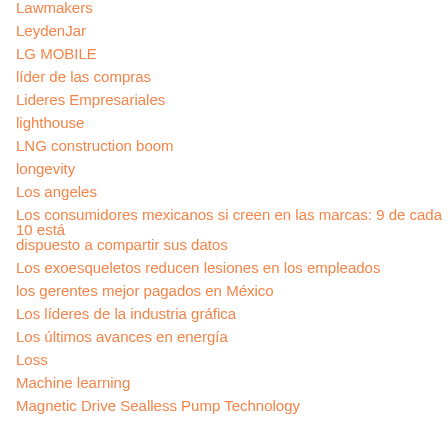Lawmakers
LeydenJar
LG MOBILE
líder de las compras
Lideres Empresariales
lighthouse
LNG construction boom
longevity
Los angeles
Los consumidores mexicanos si creen en las marcas: 9 de cada 10 está dispuesto a compartir sus datos
Los exoesqueletos reducen lesiones en los empleados
los gerentes mejor pagados en México
Los líderes de la industria gráfica
Los últimos avances en energía
Loss
Machine learning
Magnetic Drive Sealless Pump Technology